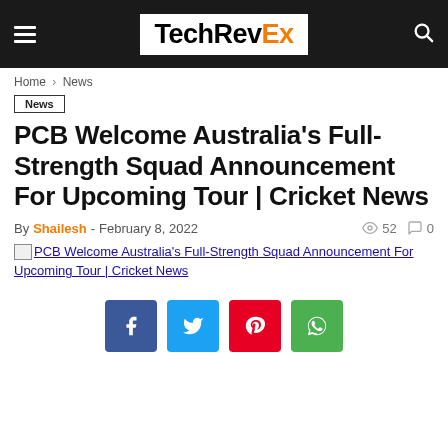TechRevEx
Home > News
News
PCB Welcome Australia's Full-Strength Squad Announcement For Upcoming Tour | Cricket News
By Shailesh - February 8, 2022  52  0
[Figure (other): Broken image placeholder for article image with alt text: PCB Welcome Australia's Full-Strength Squad Announcement For Upcoming Tour | Cricket News]
[Figure (other): Social share buttons: Facebook, Twitter, Pinterest, WhatsApp]